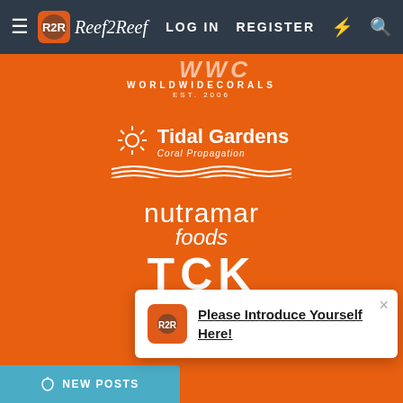≡  Reef2Reef   LOG IN   REGISTER  ⚡  🔍
[Figure (logo): WorldWideCorals logo - white text on orange background, EST. 2006]
[Figure (logo): Tidal Gardens Coral Propagation logo - white sun and wave icon with white text on orange background]
[Figure (logo): nutramar foods logo - white lowercase text on orange background]
[Figure (logo): TCK CORALS logo - large white bold text on orange background with coral icon]
[Figure (logo): Top Shelf partial logo - white text on orange background, partially visible]
Please Introduce Yourself Here!
NEW POSTS